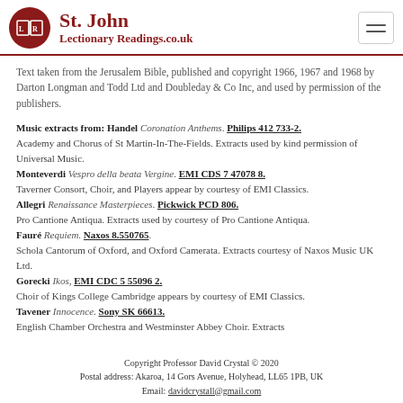St. John Lectionary Readings.co.uk
Text taken from the Jerusalem Bible, published and copyright 1966, 1967 and 1968 by Darton Longman and Todd Ltd and Doubleday & Co Inc, and used by permission of the publishers.
Music extracts from: Handel Coronation Anthems. Philips 412 733-2. Academy and Chorus of St Martin-In-The-Fields. Extracts used by kind permission of Universal Music. Monteverdi Vespro della beata Vergine. EMI CDS 7 47078 8. Taverner Consort, Choir, and Players appear by courtesy of EMI Classics. Allegri Renaissance Masterpieces. Pickwick PCD 806. Pro Cantione Antiqua. Extracts used by courtesy of Pro Cantione Antiqua. Fauré Requiem. Naxos 8.550765. Schola Cantorum of Oxford, and Oxford Camerata. Extracts courtesy of Naxos Music UK Ltd. Gorecki Ikos, EMI CDC 5 55096 2. Choir of Kings College Cambridge appears by courtesy of EMI Classics. Tavener Innocence. Sony SK 66613. English Chamber Orchestra and Westminster Abbey Choir. Extracts
Copyright Professor David Crystal © 2020
Postal address: Akaroa, 14 Gors Avenue, Holyhead, LL65 1PB, UK
Email: davidcrystall@gmail.com